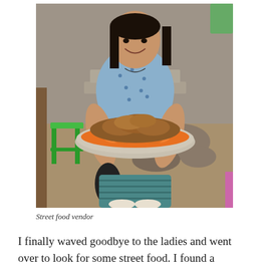[Figure (photo): A smiling woman sitting outdoors holding a large round tray/plate piled with fried snacks and orange sliced food items. She is wearing a blue floral top and a teal striped skirt with white sandals. A green plastic stool is visible to her left. The setting appears to be a street market with dirt ground and rocks in the background.]
Street food vendor
I finally waved goodbye to the ladies and went over to look for some street food. I found a